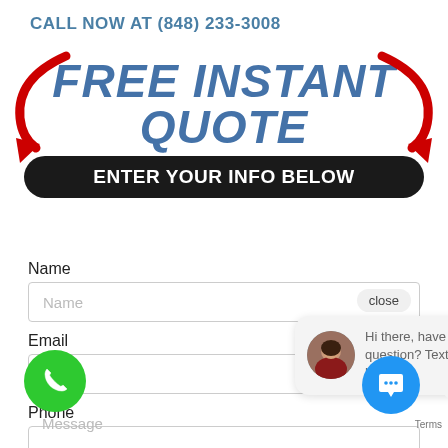CALL NOW AT (848) 233-3008
[Figure (infographic): FREE INSTANT QUOTE banner with red arrows and dark rounded bar saying ENTER YOUR INFO BELOW]
Name
Name (input field placeholder)
Email
Email (input field placeholder)
Phone
Message (input field placeholder)
[Figure (infographic): Chat popup with avatar photo of woman and text: Hi there, have a question? Text us here.]
[Figure (infographic): Green phone call button (circle) bottom left and blue chat icon button bottom right with Terms label]